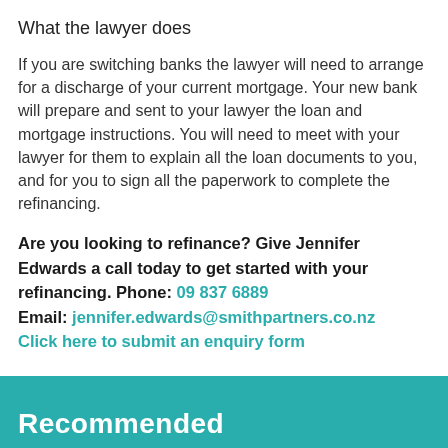What the lawyer does
If you are switching banks the lawyer will need to arrange for a discharge of your current mortgage. Your new bank will prepare and sent to your lawyer the loan and mortgage instructions. You will need to meet with your lawyer for them to explain all the loan documents to you, and for you to sign all the paperwork to complete the refinancing.
Are you looking to refinance? Give Jennifer Edwards a call today to get started with your refinancing. Phone: 09 837 6889 Email: jennifer.edwards@smithpartners.co.nz Click here to submit an enquiry form
Recommended